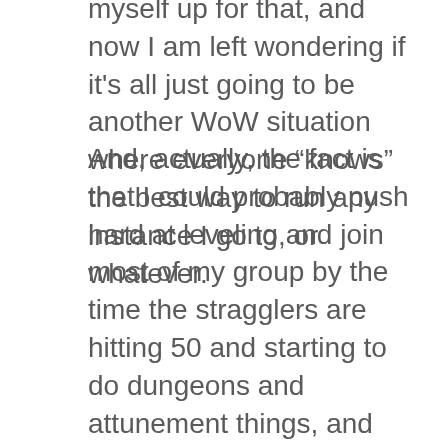myself up for that, and now I am left wondering if it's all just going to be another WoW situation where everyone “knows” the best way to run any instance I go to, or whatever.
And, actually, the fact is that I could probably push hard at leveling and join most of my group by the time the stragglers are hitting 50 and starting to do dungeons and attunement things, and then I could still get involved with the learning of some things, even if it’s not all the things. That’s pretty cool! So then I come up with feelings about how speed-leveling is annoying because I like exploring and reading the stories